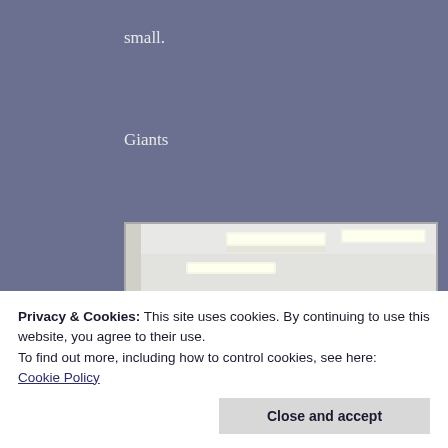small.
Giants
[Figure (photo): Interior room with fluorescent ceiling lights and a person visible in the lower portion of the frame]
Privacy & Cookies: This site uses cookies. By continuing to use this website, you agree to their use.
To find out more, including how to control cookies, see here:
Cookie Policy
Close and accept